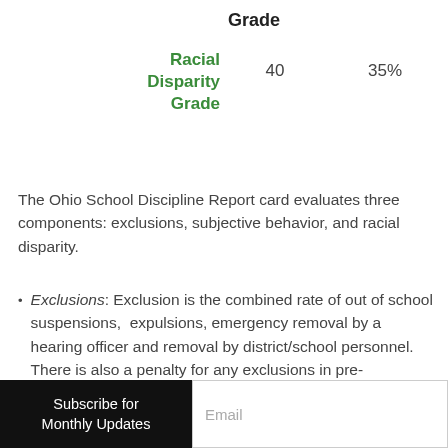|  | Grade |  |  |
| --- | --- | --- | --- |
| Racial Disparity Grade | 40 | 35% |  |
The Ohio School Discipline Report card evaluates three components: exclusions, subjective behavior, and racial disparity.
Exclusions: Exclusion is the combined rate of out of school suspensions, expulsions, emergency removal by a hearing officer and removal by district/school personnel. There is also a penalty for any exclusions in pre-kindergarten through 3rd grade and a penalty for excessive exclusions in the 9th grade.
Subscribe for Monthly Updates | Email